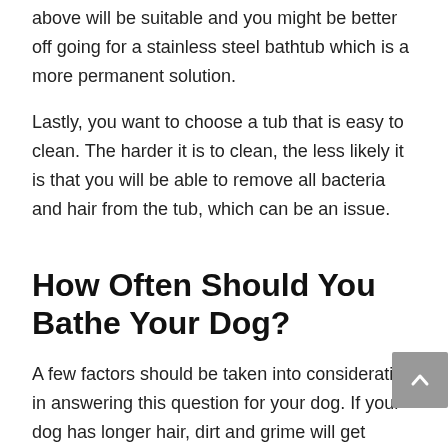above will be suitable and you might be better off going for a stainless steel bathtub which is a more permanent solution.
Lastly, you want to choose a tub that is easy to clean. The harder it is to clean, the less likely it is that you will be able to remove all bacteria and hair from the tub, which can be an issue.
How Often Should You Bathe Your Dog?
A few factors should be taken into consideration in answering this question for your dog. If your dog has longer hair, dirt and grime will get caught more in the fur, so then you will need to bath him more. If